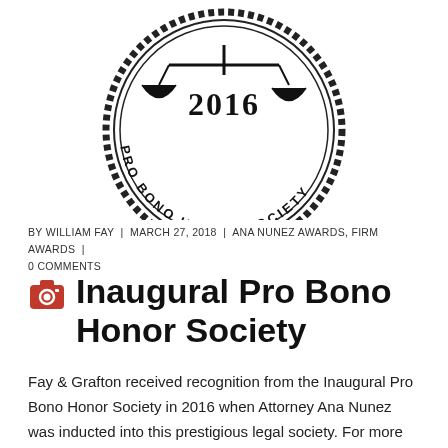[Figure (logo): Pro Bono Honor Society 2016 circular seal/logo with scales of justice icon at top and rope border, black and white]
BY WILLIAM FAY | MARCH 27, 2018 | ANA NUNEZ AWARDS, FIRM AWARDS | 0 COMMENTS
Inaugural Pro Bono Honor Society
Fay & Grafton received recognition from the Inaugural Pro Bono Honor Society in 2016 when Attorney Ana Nunez was inducted into this prestigious legal society. For more information into the inclusion criteria for this award, please visit Fay &